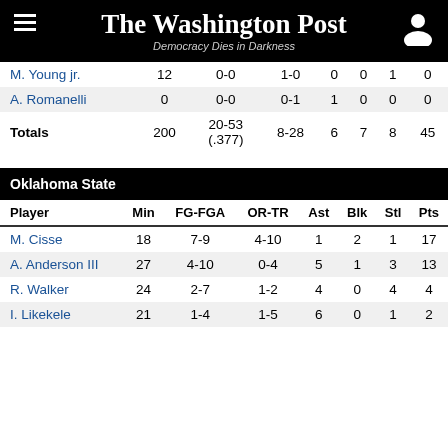The Washington Post — Democracy Dies in Darkness
| Player | Min | FG-FGA | OR-TR | Ast | Blk | Stl | Pts |
| --- | --- | --- | --- | --- | --- | --- | --- |
| M. Young jr. | 12 | 0-0 | 1-0 | 0 | 0 | 1 | 0 |
| A. Romanelli | 0 | 0-0 | 0-1 | 1 | 0 | 0 | 0 |
| Totals | 200 | 20-53 (.377) | 8-28 | 6 | 7 | 8 | 45 |
| Player | Min | FG-FGA | OR-TR | Ast | Blk | Stl | Pts |
| --- | --- | --- | --- | --- | --- | --- | --- |
| Oklahoma State |  |  |  |  |  |  |  |
| M. Cisse | 18 | 7-9 | 4-10 | 1 | 2 | 1 | 17 |
| A. Anderson III | 27 | 4-10 | 0-4 | 5 | 1 | 3 | 13 |
| R. Walker | 24 | 2-7 | 1-2 | 4 | 0 | 4 | 4 |
| I. Likekele | 21 | 1-4 | 1-5 | 6 | 0 | 1 | 2 |